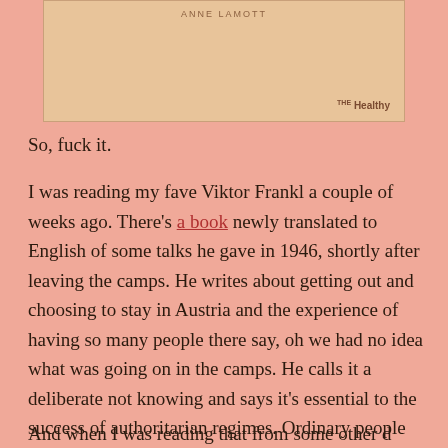[Figure (illustration): Book cover or image block with beige/tan background. Author name 'ANNE LAMOTT' in small spaced caps near top. 'THE Healthy' watermark in bottom right corner.]
So, fuck it.
I was reading my fave Viktor Frankl a couple of weeks ago. There's a book newly translated to English of some talks he gave in 1946, shortly after leaving the camps. He writes about getting out and choosing to stay in Austria and the experience of having so many people there say, oh we had no idea what was going on in the camps. He calls it a deliberate not knowing and says it's essential to the success of authoritarian regimes. Ordinary people must deliberately turn away from what is happening so that they don't have to accept responsibility for it, don't have the moral imperative to do something about it.
And when I was reading that from some other d